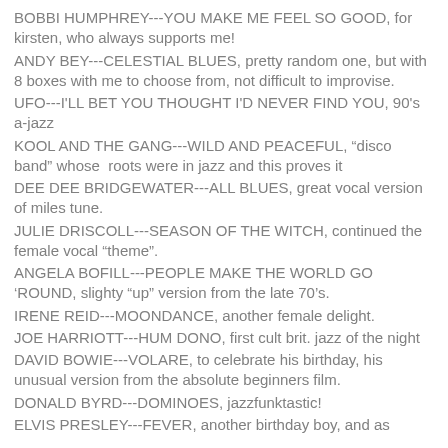BOBBI HUMPHREY---YOU MAKE ME FEEL SO GOOD, for kirsten, who always supports me!
ANDY BEY---CELESTIAL BLUES, pretty random one, but with 8 boxes with me to choose from, not difficult to improvise.
UFO---I'LL BET YOU THOUGHT I'D NEVER FIND YOU, 90's a-jazz
KOOL AND THE GANG---WILD AND PEACEFUL, “disco band” whose  roots were in jazz and this proves it
DEE DEE BRIDGEWATER---ALL BLUES, great vocal version of miles tune.
JULIE DRISCOLL---SEASON OF THE WITCH, continued the female vocal “theme”.
ANGELA BOFILL---PEOPLE MAKE THE WORLD GO ‘ROUND, slighty “up” version from the late 70’s.
IRENE REID---MOONDANCE, another female delight.
JOE HARRIOTT---HUM DONO, first cult brit. jazz of the night
DAVID BOWIE---VOLARE, to celebrate his birthday, his unusual version from the absolute beginners film.
DONALD BYRD---DOMINOES, jazzfunktastic!
ELVIS PRESLEY---FEVER, another birthday boy, and as